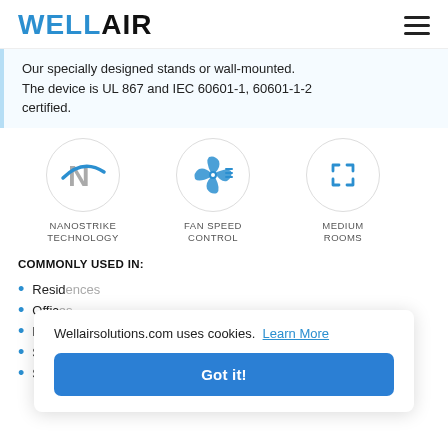WELLAIR
Our specially designed stands or wall-mounted. The device is UL 867 and IEC 60601-1, 60601-1-2 certified.
[Figure (infographic): Three circular icons: 1) NanoStrike Technology icon (N with blue arc), 2) Fan Speed Control icon (fan/propeller), 3) Medium Rooms icon (expand arrows). Labels below each icon.]
COMMONLY USED IN:
Residences
Offices
Restaurants
Small Businesses
Schools
Wellairsolutions.com uses cookies. Learn More
Got it!